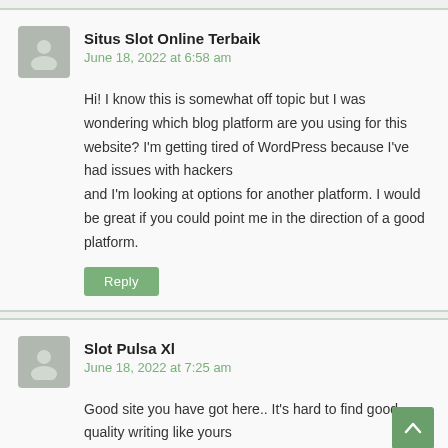Situs Slot Online Terbaik
June 18, 2022 at 6:58 am
Hi! I know this is somewhat off topic but I was wondering which blog platform are you using for this website? I'm getting tired of WordPress because I've had issues with hackers
and I'm looking at options for another platform. I would be great if you could point me in the direction of a good platform.
Reply
Slot Pulsa Xl
June 18, 2022 at 7:25 am
Good site you have got here.. It's hard to find good quality writing like yours